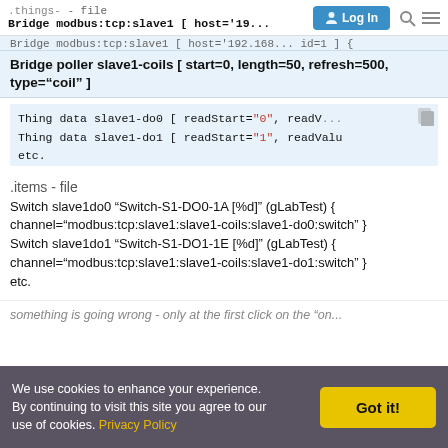.things- - file  Bridge modbus:tcp:slave1 [ host='19... id=1 ] {
Bridge poller slave1-coils [ start=0, length=50, refresh=500, type="coil" ]
Thing data slave1-do0 [ readStart="0", readValue... 
Thing data slave1-do1 [ readStart="1", readValue...
etc.
.items - file
Switch slave1do0 "Switch-S1-DO0-1A [%d]" (gLabTest) {
channel="modbus:tcp:slave1:slave1-coils:slave1-do0:switch" }
Switch slave1do1 "Switch-S1-DO1-1E [%d]" (gLabTest) {
channel="modbus:tcp:slave1:slave1-coils:slave1-do1:switch" }
etc.
something is going wrong - only at the first click on the "on...
We use cookies to enhance your experience. By continuing to visit this site you agree to our use of cookies. Privacy Policy